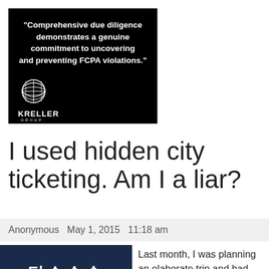[Figure (illustration): Black background ad image with white bold quote text reading: "Comprehensive due diligence demonstrates a genuine commitment to uncovering and preventing FCPA violations." Below the text is the Kreller Group logo (globe icon with KRELLER GROUP text).]
I used hidden city ticketing. Am I a liar?
Anonymous   May 1, 2015   11:18 am
[Figure (photo): Photo of a Korean airport or transit sign with characters meaning boarding/check-in, dark blue background with white Korean characters.]
Last month, I was planning an elaborate trip and had